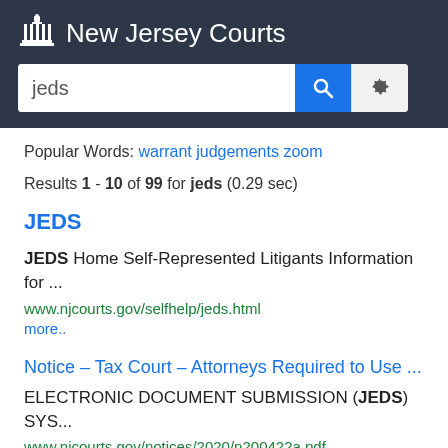New Jersey Courts
Popular Words: warrant judgements zoom
Results 1 - 10 of 99 for jeds (0.29 sec)
JEDS
JEDS Home Self-Represented Litigants Information for ...
www.njcourts.gov/selfhelp/jeds.html
more..
Notice – Tax Court – Attorneys Required to Use ...
ELECTRONIC DOCUMENT SUBMISSION (JEDS) SYS...
www.njcourts.gov/notices/2020/n200422a.pdf
more..